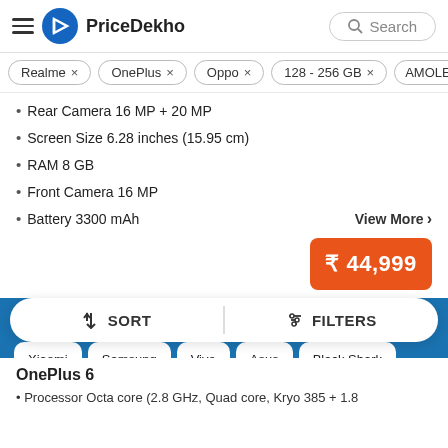PriceDekho
Realme ×
OnePlus ×
Oppo ×
128 - 256 GB ×
AMOLED
Rear Camera 16 MP + 20 MP
Screen Size 6.28 inches (15.95 cm)
RAM 8 GB
Front Camera 16 MP
Battery 3300 mAh
View More >
₹ 44,999
View Mobiles by Brand
Xiaomi
Samsung
Vivo
Asus
Black Shark
↓↑ SORT
⧉ FILTERS
OnePlus 6
Processor Octa core (2.8 GHz, Quad core, Kryo 385 + 1.8